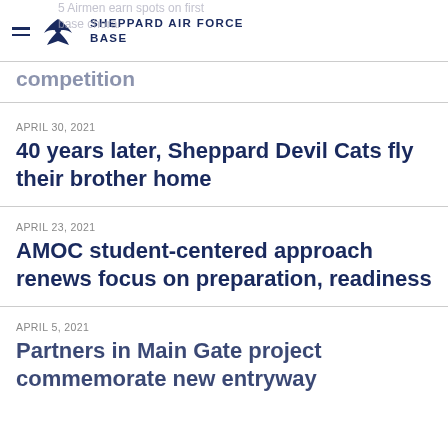Sheppard Air Force Base
5 Airmen earn spots on first base choral competition
APRIL 30, 2021
40 years later, Sheppard Devil Cats fly their brother home
APRIL 23, 2021
AMOC student-centered approach renews focus on preparation, readiness
APRIL 5, 2021
Partners in Main Gate project commemorate new entryway